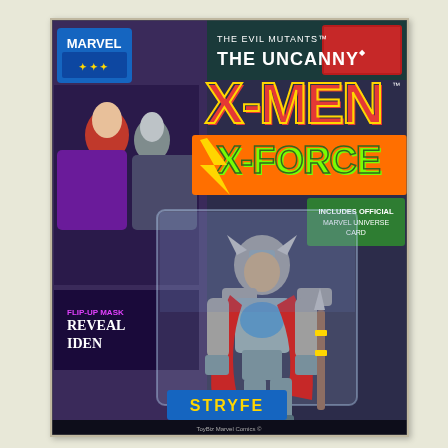[Figure (photo): A Marvel Uncanny X-Men X-Force action figure toy still in its packaging. The figure appears to be a silver-armored character with a red cape (likely Stryfe) from the 'Evil Mutants' series. The card packaging features Marvel branding, colorful comic-book art with the X-Men and X-Force logos in large stylized lettering, and mentions a flip-up mask that reveals identity. The figure includes what appears to be a weapon/accessory.]